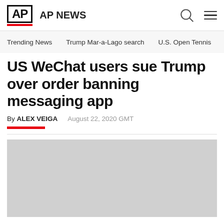AP AP NEWS
Trending News   Trump Mar-a-Lago search   U.S. Open Tennis
US WeChat users sue Trump over order banning messaging app
By ALEX VEIGA   August 22, 2020 GMT
[Figure (photo): Gray placeholder image for article photo]